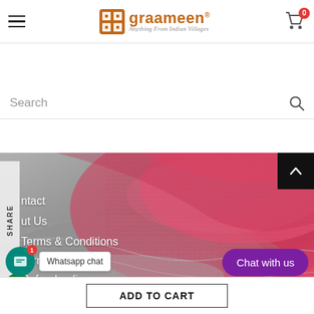[Figure (screenshot): Graameen e-commerce website header with hamburger menu, logo, and cart icon]
Search
[Figure (photo): Close-up photo of stacked knitted woolen fabric in red/pink and grey colors]
ntact
ut Us
Terms & Conditions
Terms of Service
Refund policy
Chat with us
Whatsapp chat
ADD TO CART